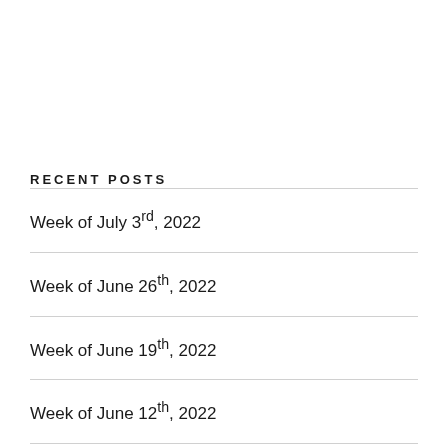RECENT POSTS
Week of July 3rd, 2022
Week of June 26th, 2022
Week of June 19th, 2022
Week of June 12th, 2022
Week of June 5th, 2022